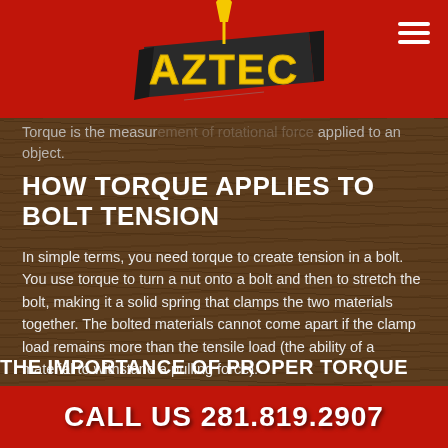Aztec (logo)
Torque is the measure of rotational force applied to an object.
HOW TORQUE APPLIES TO BOLT TENSION
In simple terms, you need torque to create tension in a bolt. You use torque to turn a nut onto a bolt and then to stretch the bolt, making it a solid spring that clamps the two materials together. The bolted materials cannot come apart if the clamp load remains more than the tensile load (the ability of a material to withstand a pulling force).
THE IMPORTANCE OF PROPER TORQUE
CALL US 281.819.2907